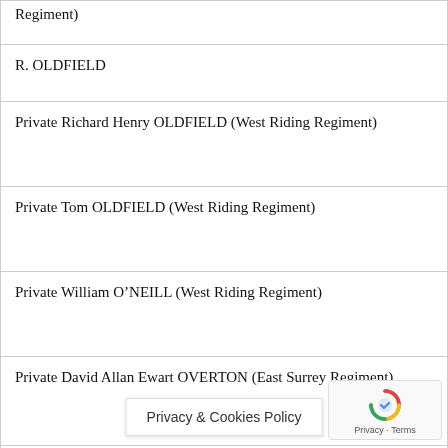| Regiment) |
| R. OLDFIELD |
| Private Richard Henry OLDFIELD (West Riding Regiment) |
| Private Tom OLDFIELD (West Riding Regiment) |
| Private William O’NEILL (West Riding Regiment) |
| Private David Allan Ewart OVERTON (East Surrey Regiment) |
| L/Corporal Thomas Wilson OVERTON (Yorkshire Regiment) |
| J. PARKER |